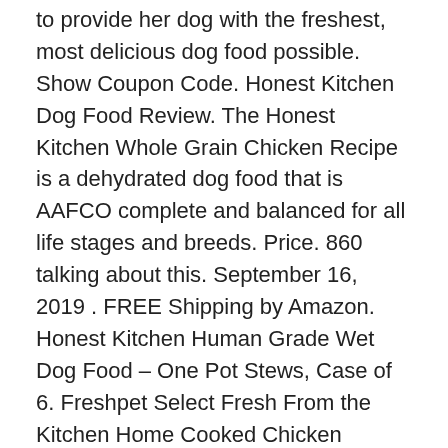to provide her dog with the freshest, most delicious dog food possible. Show Coupon Code. Honest Kitchen Dog Food Review. The Honest Kitchen Whole Grain Chicken Recipe is a dehydrated dog food that is AAFCO complete and balanced for all life stages and breeds. Price. 860 talking about this. September 16, 2019 . FREE Shipping by Amazon. Honest Kitchen Human Grade Wet Dog Food – One Pot Stews, Case of 6. Freshpet Select Fresh From the Kitchen Home Cooked Chicken Recipe Refrigerated Dog Food. For a 2-pound box of Honest Kitchen dehydrated dog food you will spend about $15 to $25, depending on the recipe. Get it as soon as Tue, Dec 8. The Honest Kitchen Whole Food Clusters Human Grade Dry Dog Food - Cage Free Chicken, Cage Free Turkey, Ranch Raised Beef. Its pet and cat food are made from non-GMO produce including hormone-free meat and fair trade ingredients. The Honest Kitchen 101 The Honest Kitchen 101. Start feeding them with products from The Honest Kitchen today. $8.49 - $19.99. Some of the most common